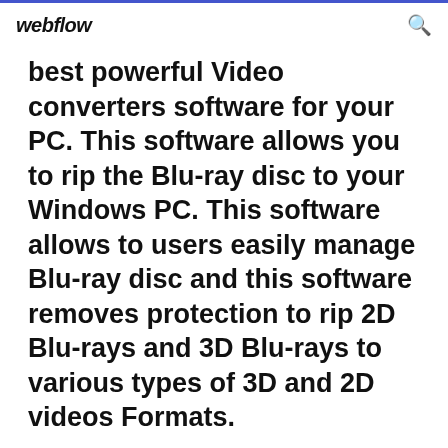webflow
best powerful Video converters software for your PC. This software allows you to rip the Blu-ray disc to your Windows PC. This software allows to users easily manage Blu-ray disc and this software removes protection to rip 2D Blu-rays and 3D Blu-rays to various types of 3D and 2D videos Formats.
DVDFab 11.0.8.5 (x32/x64) + Full Crack [Latest] - ... Blu-ray Ripper (3D Plus) can rip or convert ... Blu-ray...